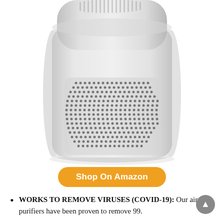[Figure (photo): White cylindrical air purifier with perforated body showing dot pattern air intake grille, shown against white background. Top portion visible with air outlet vents.]
Shop On Amazon
WORKS TO REMOVE VIRUSES (COVID-19): Our air purifiers have been proven to remove 99.